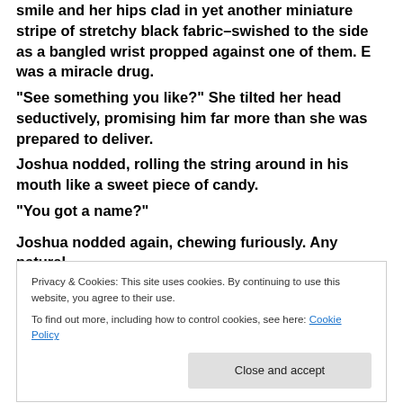smile and her hips clad in yet another miniature stripe of stretchy black fabric–swished to the side as a bangled wrist propped against one of them.  E was a miracle drug.
"See something you like?"  She tilted her head seductively, promising him far more than she was prepared to deliver.
Joshua nodded, rolling the string around in his mouth like a sweet piece of candy.
"You got a name?"

Joshua nodded again, chewing furiously.  Any natural
tiny white disks marked with a letter.  She'd already
Privacy & Cookies: This site uses cookies. By continuing to use this website, you agree to their use.
To find out more, including how to control cookies, see here: Cookie Policy
Close and accept